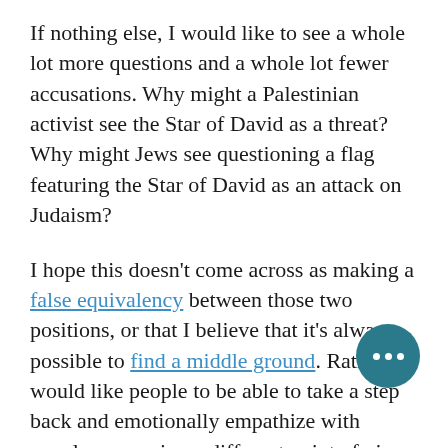If nothing else, I would like to see a whole lot more questions and a whole lot fewer accusations. Why might a Palestinian activist see the Star of David as a threat? Why might Jews see questioning a flag featuring the Star of David as an attack on Judaism?
I hope this doesn't come across as making a false equivalency between those two positions, or that I believe that it's always possible to find a middle ground. Rather, I would like people to be able to take a step back and emotionally empathize with people expressing a different point of view. Even when someone is wrong, simply yelling "you're wrong!" is unlikely to win them over.